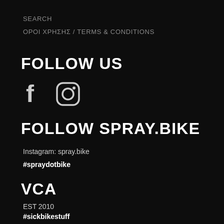SEARCH
ΟΡΟΙ ΧΡΗΣΗΣ / TERMS & CONDITIONS
FOLLOW US
[Figure (illustration): Facebook and Instagram social media icons in white/grey on black background]
FOLLOW SPRAY.BIKE
Instagram: spray.bike
#spraydotbike
VCA
EST 2010
#sickbikestuff